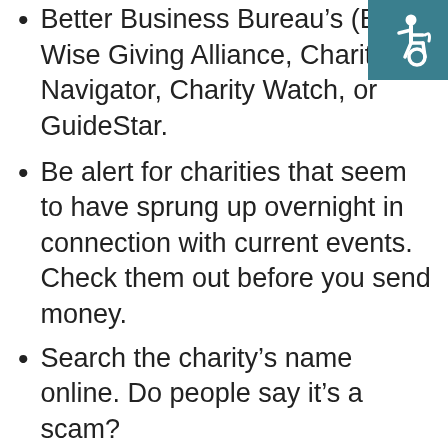Check out the charity with the Better Business Bureau's (BBB) Wise Giving Alliance, Charity Navigator, Charity Watch, or GuideStar.
Be alert for charities that seem to have sprung up overnight in connection with current events. Check them out before you send money.
Search the charity's name online. Do people say it's a scam?
Don't assume that pleas for help posted on crowdfunding sites or social media are legitimate. Real victims' pictures and stories can be
[Figure (other): Accessibility icon - white wheelchair symbol on teal/dark cyan background, top right corner]
[Figure (other): Navigation menu button - three horizontal white lines (hamburger icon) above MENU text, on gray background, left side middle of page]